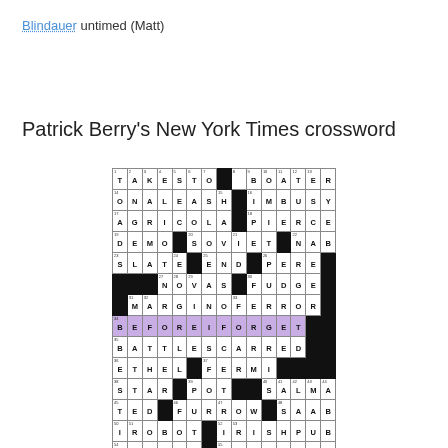Blindauer untimed (Matt)
Patrick Berry's New York Times crossword
[Figure (other): A completed NYT crossword puzzle grid by Patrick Berry. 15x15 grid with filled black squares and letters. One row highlighted in purple spelling BEFOREIFORGET. Notable answers include TAKESTO, BOATER, ONALEASH, IMBUSY, AGRICOLA, PIERCE, DEMO, SOVIET, NAB, SLATE, END, PERE, NOVAS, FUDGE, MARGINOFERROR, BEFOREIFORGET, BATTLESCARRED, ETHEL, FERMI, STAR, POT, SALMA, TED, FURROW, SAAB, IROBOT, IRISHPUB, RUNOUT, PETPEEVE, SPEARS, STANLEY]